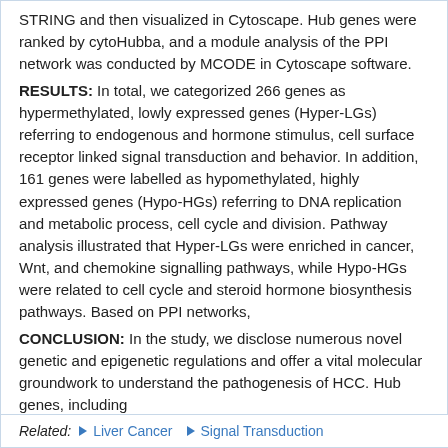STRING and then visualized in Cytoscape. Hub genes were ranked by cytoHubba, and a module analysis of the PPI network was conducted by MCODE in Cytoscape software.
RESULTS: In total, we categorized 266 genes as hypermethylated, lowly expressed genes (Hyper-LGs) referring to endogenous and hormone stimulus, cell surface receptor linked signal transduction and behavior. In addition, 161 genes were labelled as hypomethylated, highly expressed genes (Hypo-HGs) referring to DNA replication and metabolic process, cell cycle and division. Pathway analysis illustrated that Hyper-LGs were enriched in cancer, Wnt, and chemokine signalling pathways, while Hypo-HGs were related to cell cycle and steroid hormone biosynthesis pathways. Based on PPI networks,
CONCLUSION: In the study, we disclose numerous novel genetic and epigenetic regulations and offer a vital molecular groundwork to understand the pathogenesis of HCC. Hub genes, including
Related:  ▶ Liver Cancer  ▶ Signal Transduction